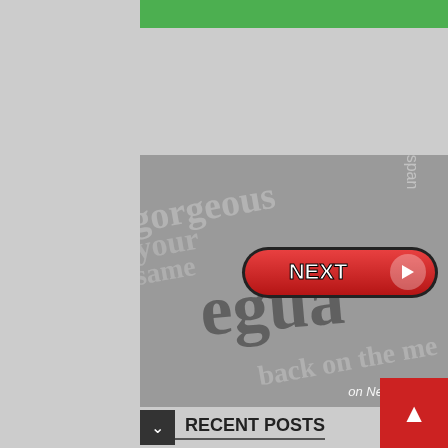[Figure (screenshot): Green bar at the top of the page, partial website header]
[Figure (screenshot): Image showing a newspaper with a red NEXT button overlay and 'on Newz Online' text at the bottom right]
RECENT POSTS
John Farnham's secret 'final album' in doubt